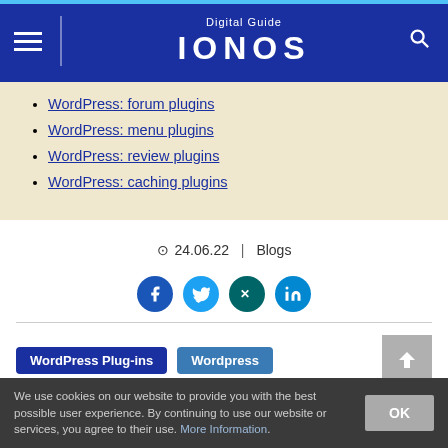Digital Guide IONOS
WordPress: forum plugins
WordPress: menu plugins
WordPress: review plugins
WordPress: caching plugins
24.06.22 | Blogs
[Figure (other): Social share buttons: Facebook, Twitter, XING, LinkedIn]
WordPress Plug-ins  Wordpress
We use cookies on our website to provide you with the best possible user experience. By continuing to use our website or services, you agree to their use. More Information.